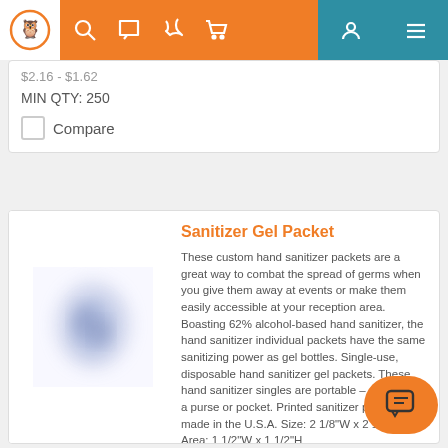Navigation bar with logo, search, chat, phone, cart icons and user/menu icons
$2.16 - $1.62
MIN QTY: 250
Compare
Sanitizer Gel Packet
[Figure (photo): Blurred product image of hand sanitizer gel packet]
These custom hand sanitizer packets are a great way to combat the spread of germs when you give them away at events or make them easily accessible at your reception area. Boasting 62% alcohol-based hand sanitizer, the hand sanitizer individual packets have the same sanitizing power as gel bottles. Single-use, disposable hand sanitizer gel packets. These hand sanitizer singles are portable – easily fit in a purse or pocket. Printed sanitizer packets are made in the U.S.A. Size: 2 1/8"W x 2 1/8"H Area: 1 1/2"W x 1 1/2"H
Item # 124667